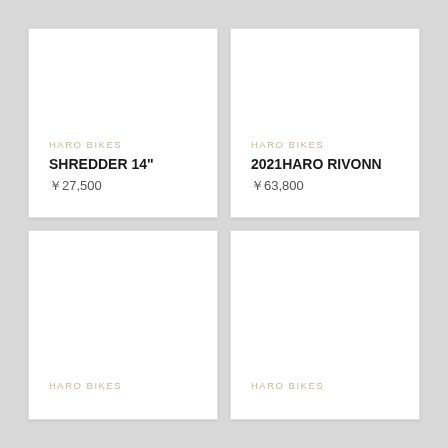HARO BIKES
SHREDDER 14"
￥27,500
HARO BIKES
2021HARO RIVONN
￥63,800
HARO BIKES
HARO BIKES